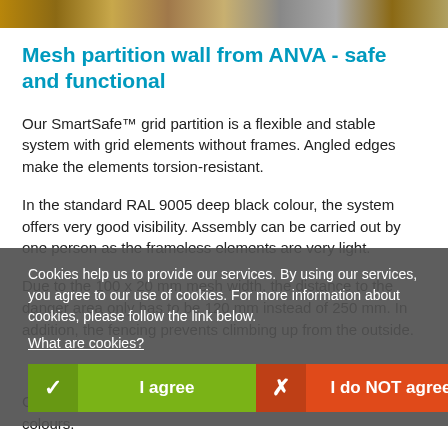[Figure (photo): Top banner photo showing mesh partition wall/warehouse shelving area]
Mesh partition wall from ANVA - safe and functional
Our SmartSafe™ grid partition is a flexible and stable system with grid elements without frames. Angled edges make the elements torsion-resistant.
In the standard RAL 9005 deep black colour, the system offers very good visibility. Assembly can be carried out by one person as the frameless elements are very light.
Due to the 100 x 20 mm mesh width, the distance to the danger area only has to be 120 mm instead of 250 mm. In addition, the fencing prevents climbing up from the outside.
Cookies help us to provide our services. By using our services, you agree to our use of cookies. For more information about cookies, please follow the link below.
What are cookies?
I agree
I do NOT agree
Customisation is possible — powder-coated in all RAL colours.
Doors are planned with our ProSafe elements.